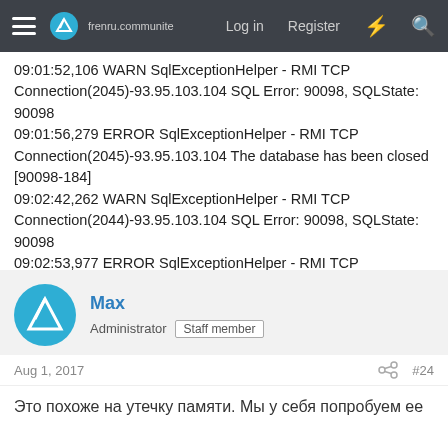frenru.communite Log in Register
09:01:52,106 WARN SqlExceptionHelper - RMI TCP Connection(2045)-93.95.103.104 SQL Error: 90098, SQLState: 90098
09:01:56,279 ERROR SqlExceptionHelper - RMI TCP Connection(2045)-93.95.103.104 The database has been closed [90098-184]
09:02:42,262 WARN SqlExceptionHelper - RMI TCP Connection(2044)-93.95.103.104 SQL Error: 90098, SQLState: 90098
09:02:53,977 ERROR SqlExceptionHelper - RMI TCP Connection(2044)-93.95.103.104 The database has been closed [90098-184]
Max
Administrator  Staff member
Aug 1, 2017  #24
Это похоже на утечку памяти. Мы у себя попробуем ее